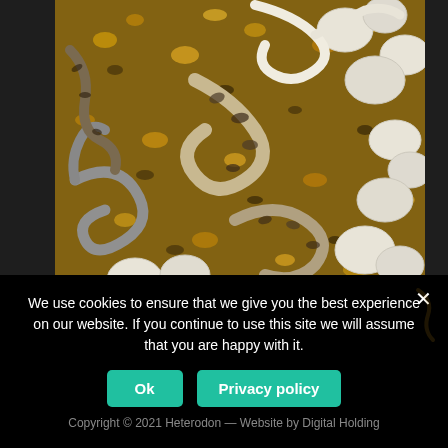[Figure (photo): A photograph of multiple baby snakes hatching from eggs, with various color morphs including white/albino, grey, and spotted patterned snakes amid golden substrate/bedding material.]
Load More...
Follow on Instagram
We use cookies to ensure that we give you the best experience on our website. If you continue to use this site we will assume that you are happy with it.
Ok
Privacy policy
Copyright © 2021 Heterodon — Website by Digital Holding